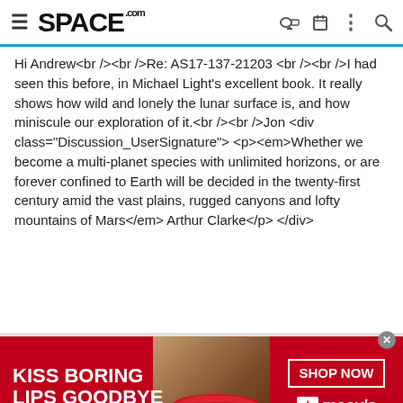SPACE.com
Hi Andrew<br /><br />Re: AS17-137-21203 <br /><br />I had seen this before, in Michael Light's excellent book. It really shows how wild and lonely the lunar surface is, and how miniscule our exploration of it.<br /><br />Jon <div class="Discussion_UserSignature"> <p><em>Whether we become a multi-planet species with unlimited horizons, or are forever confined to Earth will be decided in the twenty-first century amid the vast plains, rugged canyons and lofty mountains of Mars</em> Arthur Clarke</p> </div>
[Figure (photo): Macy's advertisement banner: 'KISS BORING LIPS GOODBYE' with a model photo and 'SHOP NOW' button with Macy's star logo on red background]